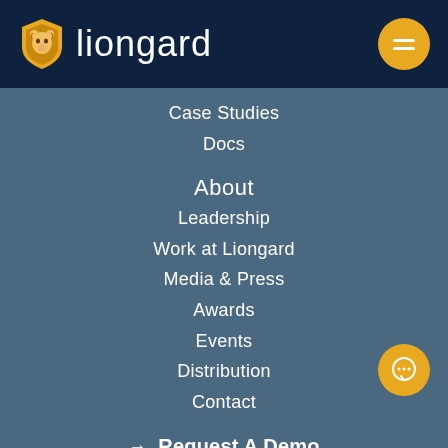[Figure (logo): Liongard logo with lion shield icon and wordmark 'liongard' in white on dark navy header, with golden hamburger menu button top right]
Case Studies
Docs
About
Leadership
Work at Liongard
Media & Press
Awards
Events
Distribution
Contact
→ Request A Demo
→ Contact
→ Pricing